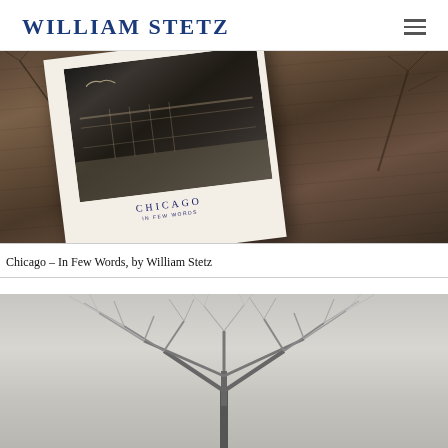WILLIAM STETZ
[Figure (photo): A photo book titled 'CHICAGO IN FEW WORDS' lying on a wooden surface. The book cover shows a black-and-white photograph of a Chicago waterfront scene with railings and buildings.]
Chicago – In Few Words, by William Stetz
[Figure (photo): Black and white photograph of a bare winter tree with branches spread wide against a light grey sky, taken from below looking up.]